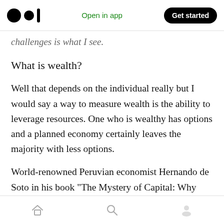Open in app | Get started
challenges what I see.
What is wealth?
Well that depends on the individual really but I would say a way to measure wealth is the ability to leverage resources. One who is wealthy has options and a planned economy certainly leaves the majority with less options.
World-renowned Peruvian economist Hernando de Soto in his book “The Mystery of Capital: Why Capitalism Triumphs in the West and Fails Everywhere Else” discussed the true meaning of
Home | Search | Profile